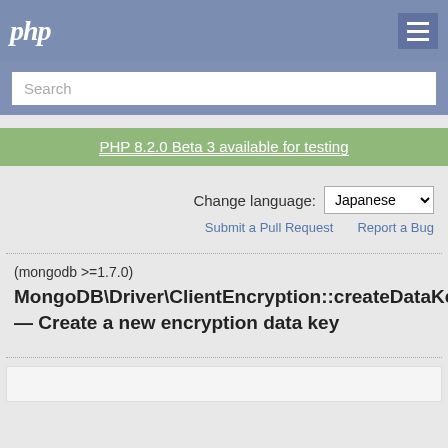php
Search
PHP 8.2.0 Beta 3 available for testing
Change language: Japanese
Submit a Pull Request    Report a Bug
(mongodb >=1.7.0)
MongoDB\Driver\ClientEncryption::createDataKey — Create a new encryption data key